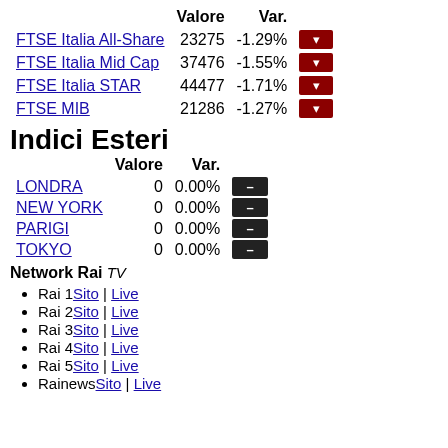|  | Valore | Var. |  |
| --- | --- | --- | --- |
| FTSE Italia All-Share | 23275 | -1.29% | ▼ |
| FTSE Italia Mid Cap | 37476 | -1.55% | ▼ |
| FTSE Italia STAR | 44477 | -1.71% | ▼ |
| FTSE MIB | 21286 | -1.27% | ▼ |
Indici Esteri
|  | Valore | Var. |  |
| --- | --- | --- | --- |
| LONDRA | 0 | 0.00% | – |
| NEW YORK | 0 | 0.00% | – |
| PARIGI | 0 | 0.00% | – |
| TOKYO | 0 | 0.00% | – |
Network Rai
TV
Rai 1 Sito | Live
Rai 2 Sito | Live
Rai 3 Sito | Live
Rai 4 Sito | Live
Rai 5 Sito | Live
Rainews Sito | Live